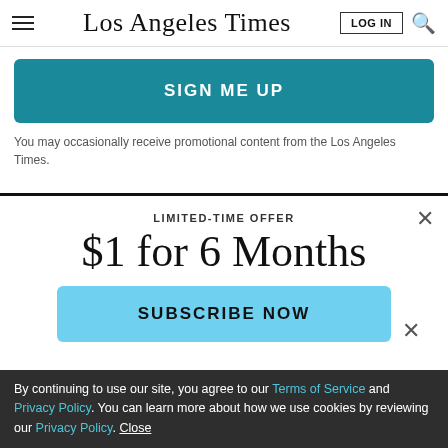Los Angeles Times | LOG IN | Search
SIGN ME UP
You may occasionally receive promotional content from the Los Angeles Times.
LIMITED-TIME OFFER
$1 for 6 Months
SUBSCRIBE NOW
By continuing to use our site, you agree to our Terms of Service and Privacy Policy. You can learn more about how we use cookies by reviewing our Privacy Policy. Close